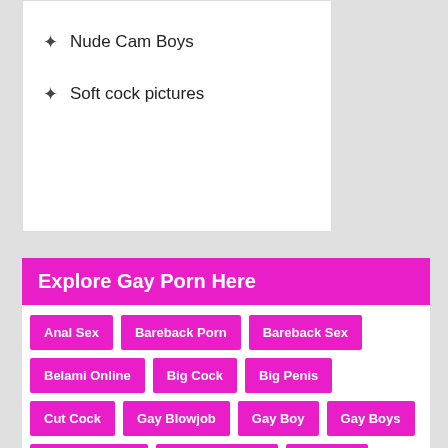Nude Cam Boys
Soft cock pictures
Explore Gay Porn Here
Anal Sex
Bareback Porn
Bareback Sex
Belami Online
Big Cock
Big Penis
Cut Cock
Gay Blowjob
Gay Boy
Gay Boys
Gay Cum Shot
Gay Group Sex
Gay Man
Gay Men
Gay Muscle
Gay Oral Sex
Gay Porn
Gay Porn Star
Gay Sex
Gay Stud
Gay Threesome
Gay Twink
Hairy Cock
Hard Cock
Hardcore Gay